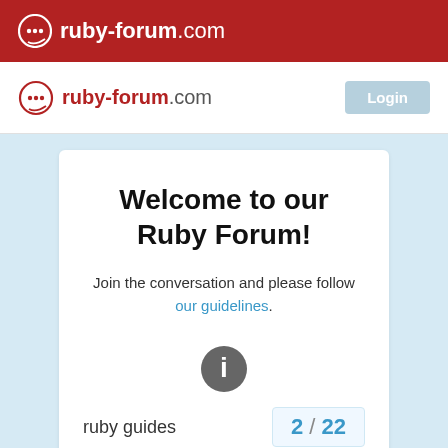ruby-forum.com
[Figure (screenshot): Secondary navigation bar with ruby-forum.com logo and login button]
Welcome to our Ruby Forum!
Join the conversation and please follow our guidelines.
[Figure (illustration): Info icon (circular grey badge with white 'i')]
ruby guides
2 / 22